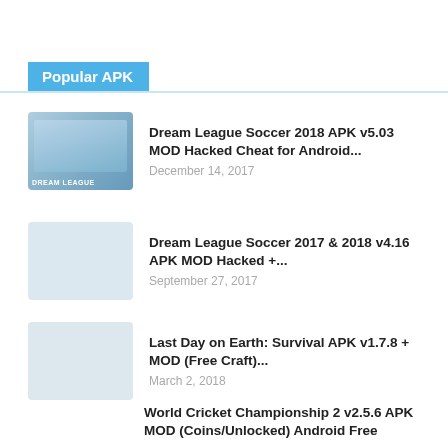Popular APK
Dream League Soccer 2018 APK v5.03 MOD Hacked Cheat for Android...
December 14, 2017
Dream League Soccer 2017 & 2018 v4.16 APK MOD Hacked +...
September 27, 2017
Last Day on Earth: Survival APK v1.7.8 + MOD (Free Craft)...
March 2, 2018
World Cricket Championship 2 v2.5.6 APK MOD (Coins/Unlocked) Android Free